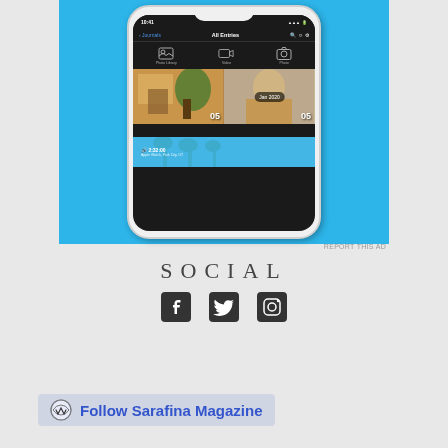[Figure (screenshot): App screenshot of a journaling app on a smartphone mockup showing 'All Entries' with photos dated Jan 2020, displayed against a blue background]
REPORT THIS AD
SOCIAL
[Figure (infographic): Social media icons: Facebook, Twitter, Instagram]
Follow Sarafina Magazine